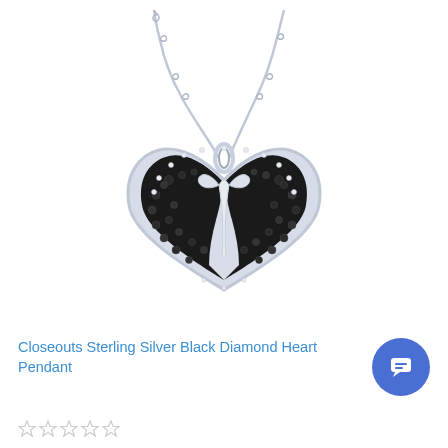[Figure (photo): Sterling silver heart-shaped pendant necklace with black diamond pave and white diamond ribbon accent, on a silver box chain, shown on white background.]
Closeouts Sterling Silver Black Diamond Heart Pendant
[Figure (other): Five empty star rating icons in a row]